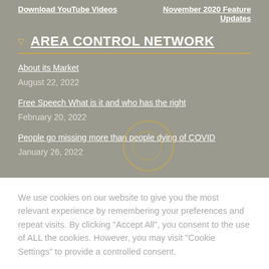Download YouTube Videos | November 2020 Feature Updates
AREA CONTROL NETWORK
About its Market August 22, 2022
Free Speech What is it and who has the right February 20, 2022
People go missing more than people dying of COVID January 26, 2022
We use cookies on our website to give you the most relevant experience by remembering your preferences and repeat visits. By clicking "Accept All", you consent to the use of ALL the cookies. However, you may visit "Cookie Settings" to provide a controlled consent.